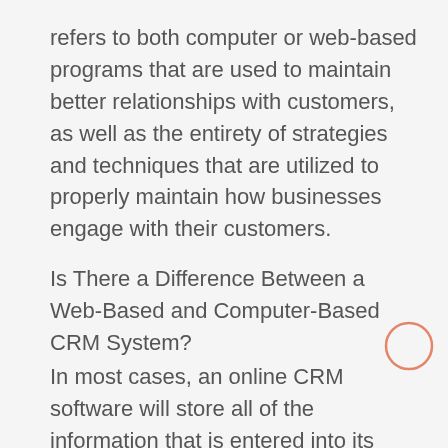refers to both computer or web-based programs that are used to maintain better relationships with customers, as well as the entirety of strategies and techniques that are utilized to properly maintain how businesses engage with their customers.
Is There a Difference Between a Web-Based and Computer-Based CRM System?
In most cases, an online CRM software will store all of the information that is entered into its interface on the World Wide Web, specifically using cloud storage solutions to keep all of their users' information in good shape. Online CRM software can also be used from all supported devices. Usually, all devices are supported, as long as they have Internet access, no matter whether they are in the workplace or located far, far away on